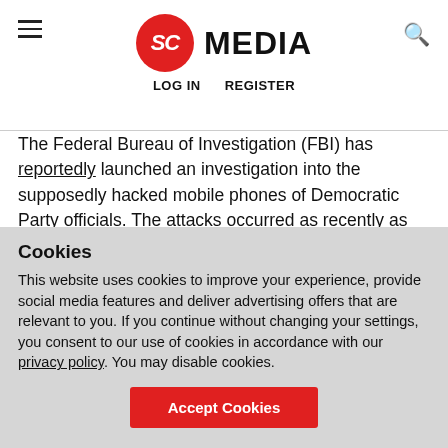SC MEDIA | LOG IN | REGISTER
The Federal Bureau of Investigation (FBI) has reportedly launched an investigation into the supposedly hacked mobile phones of Democratic Party officials. The attacks occurred as recently as the past month, Reuters reported, citing individuals with knowledge of the situation, speaking on condition of anonymity.
Cookies
This website uses cookies to improve your experience, provide social media features and deliver advertising offers that are relevant to you. If you continue without changing your settings, you consent to our use of cookies in accordance with our privacy policy. You may disable cookies.
Accept Cookies